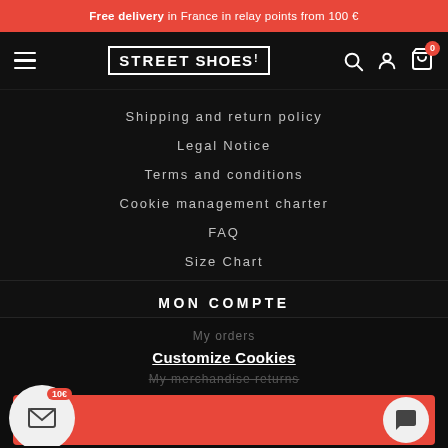Free delivery in France in relay points from 100 €
[Figure (screenshot): Street Shoes navigation bar with hamburger menu, logo, search, profile, and cart icons]
Shipping and return policy
Legal Notice
Terms and conditions
Cookie management charter
FAQ
Size Chart
MON COMPTE
My orders
Customize Cookies
My merchandise returns
My personal info